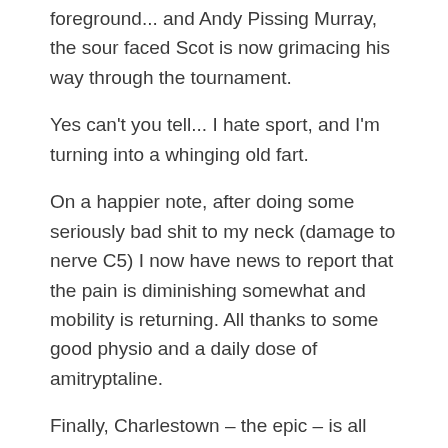foreground... and Andy Pissing Murray, the sour faced Scot is now grimacing his way through the tournament.
Yes can't you tell... I hate sport, and I'm turning into a whinging old fart.
On a happier note, after doing some seriously bad shit to my neck (damage to nerve C5) I now have news to report that the pain is diminishing somewhat and mobility is returning. All thanks to some good physio and a daily dose of amitryptaline.
Finally, Charlestown – the epic – is all recorded now and is virtually there mix wise and sounding stonkingly good. I can't wait to see the cover artwork now and start re-skinning the website ready for it's release.
...oh and we have a pool... but more on that later.